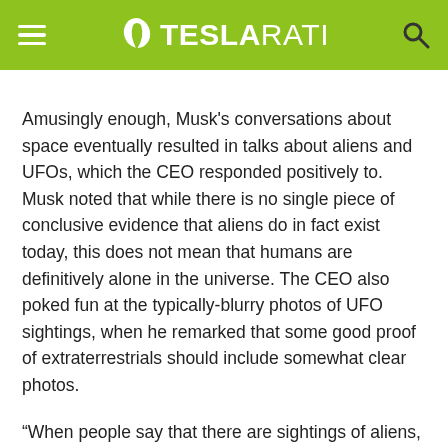TESLARATI
Amusingly enough, Musk's conversations about space eventually resulted in talks about aliens and UFOs, which the CEO responded positively to. Musk noted that while there is no single piece of conclusive evidence that aliens do in fact exist today, this does not mean that humans are definitively alone in the universe. The CEO also poked fun at the typically-blurry photos of UFO sightings, when he remarked that some good proof of extraterrestrials should include somewhat clear photos.
“When people say that there are sightings of aliens, I say, ‘Listen man, the resolution of the picture needs to be at